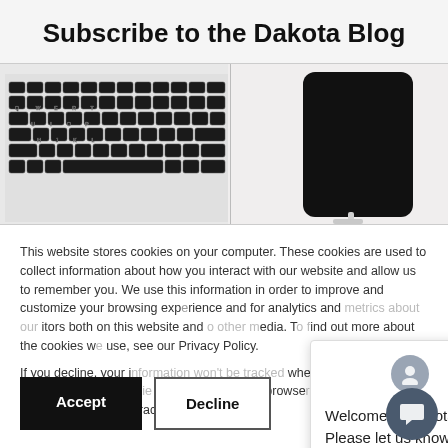Subscribe to the Dakota Blog
[Figure (photo): Photo strip showing a laptop keyboard on the left and a black smartphone on a white surface on the right]
This website stores cookies on your computer. These cookies are used to collect information about how you interact with our website and allow us to remember you. We use this information in order to improve and customize your browsing experience and for analytics and metrics about our visitors both on this website and other media. To find out more about the cookies we use, see our Privacy Policy.
If you decline, your information won't be tracked when you visit this website. A single cookie will be used in your browser to remember your preference not to be tracked.
[Figure (screenshot): Chat popup overlay with avatar icon, close button (×), and message: Welcome to Dakota! Please let us know how we can help.]
Accept
Decline